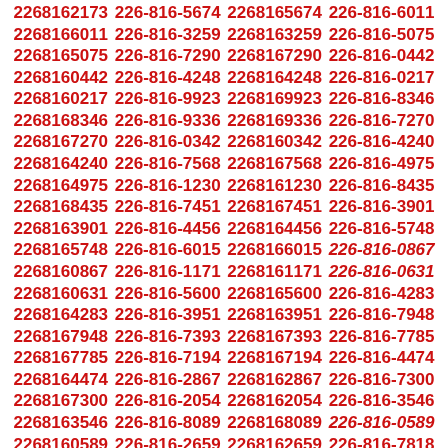2268162173 226-816-5674 2268165674 226-816-6011 2268166011 226-816-3259 2268163259 226-816-5075 2268165075 226-816-7290 2268167290 226-816-0442 2268160442 226-816-4248 2268164248 226-816-0217 2268160217 226-816-9923 2268169923 226-816-8346 2268168346 226-816-9336 2268169336 226-816-7270 2268167270 226-816-0342 2268160342 226-816-4240 2268164240 226-816-7568 2268167568 226-816-4975 2268164975 226-816-1230 2268161230 226-816-8435 2268168435 226-816-7451 2268167451 226-816-3901 2268163901 226-816-4456 2268164456 226-816-5748 2268165748 226-816-6015 2268166015 226-816-0867 2268160867 226-816-1171 2268161171 226-816-0631 2268160631 226-816-5600 2268165600 226-816-4283 2268164283 226-816-3951 2268163951 226-816-7948 2268167948 226-816-7393 2268167393 226-816-7785 2268167785 226-816-7194 2268167194 226-816-4474 2268164474 226-816-2867 2268162867 226-816-7300 2268167300 226-816-2054 2268162054 226-816-3546 2268163546 226-816-8089 2268168089 226-816-0589 2268160589 226-816-2659 2268162659 226-816-7818 2268167818 226-816-6481 2268166481 226-816-4148 2268164148 226-816-6596 2268166596 226-816-7435 2268167435 226-816-7166 2268167166 226-816-9966 2268169966 226-816-5112 2268165112 226-816-1627